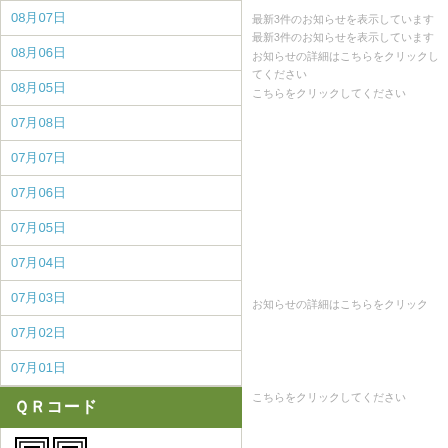08月07日
08月06日
08月05日
07月08日
07月07日
07月06日
07月05日
07月04日
07月03日
07月02日
07月01日
QRコード
[Figure (other): QR code image]
最新3件のお知らせを表示しています
最新3件のお知らせを表示しています
お知らせの詳細はこちらをクリックしてください
こちらをクリックしてください
お知らせの詳細はこちらをクリック
こちらをクリックしてください